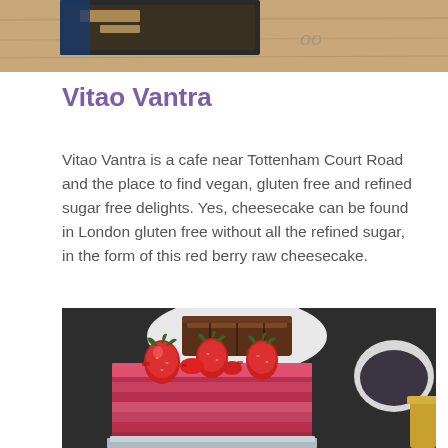[Figure (photo): Top portion of a photo showing what appears to be a baked good or food item on a wooden surface, partially cropped]
Vitao Vantra
Vitao Vantra is a cafe near Tottenham Court Road and the place to find vegan, gluten free and refined sugar free delights. Yes, cheesecake can be found in London gluten free without all the refined sugar, in the form of this red berry raw cheesecake.
[Figure (photo): Photo of a red berry raw cheesecake topped with fresh strawberries in the foreground, with a chocolate cake on a white plate in the background, and a bowl of dark powder and a golden cup on the right side]